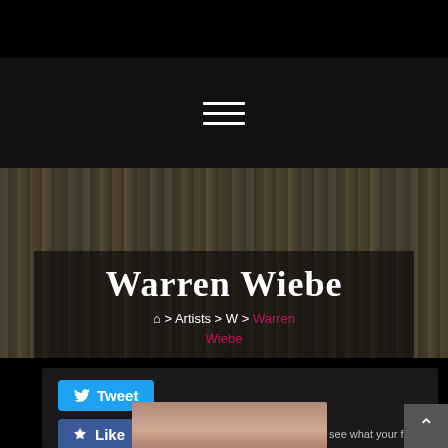[Figure (screenshot): Navigation hamburger menu icon (three white horizontal lines) on dark background]
[Figure (photo): Hero banner with bookshelf background, overlaid with title Warren Wiebe and breadcrumb navigation: Home > Artists > W > Warren Wiebe]
Warren Wiebe
🏠 > Artists > W > Warren Wiebe
[Figure (screenshot): Tweet button (blue with Twitter bird icon) and Like button (blue with thumbs up icon), with text '66 people like this. Sign Up to see what your friends like.']
[Figure (photo): Portrait photo of Warren Wiebe, partially visible, showing top of head]
[Figure (screenshot): Scroll to top button (grey square with white up arrow chevron) in bottom right corner]